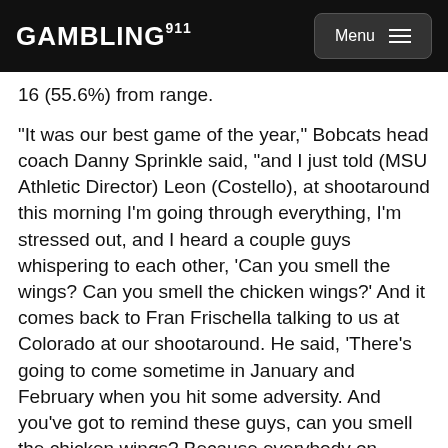GAMBLING911 Menu
16 (55.6%) from range.
"It was our best game of the year," Bobcats head coach Danny Sprinkle said, "and I just told (MSU Athletic Director) Leon (Costello), at shootaround this morning I'm going through everything, I'm stressed out, and I heard a couple guys whispering to each other, 'Can you smell the wings? Can you smell the chicken wings?' And it comes back to Fran Frischella talking to us at Colorado at our shootaround. He said, 'There's going to come sometime in January and February when you hit some adversity. And you've got to remind these guys, can you smell the chicken wings? Because everybody on selection Sunday has chicken wings at their party. You have to fight through adversity. You have to see past the moment.'"
Ochai Agbaji returned home this weekend as the Big 12's player of the year, then showed out in front of